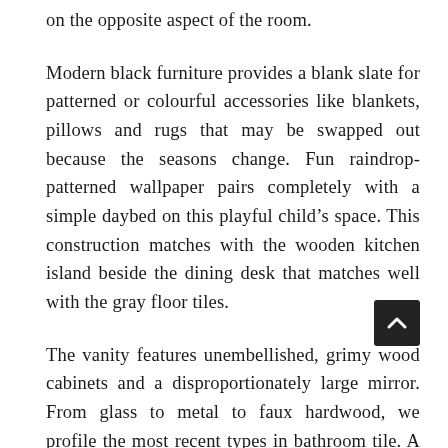on the opposite aspect of the room.
Modern black furniture provides a blank slate for patterned or colourful accessories like blankets, pillows and rugs that may be swapped out because the seasons change. Fun raindrop-patterned wallpaper pairs completely with a simple daybed on this playful child's space. This construction matches with the wooden kitchen island beside the dining desk that matches well with the gray floor tiles.
The vanity features unembellished, grimy wood cabinets and a disproportionately large mirror. From glass to metal to faux hardwood, we profile the most recent types in bathroom tile. A 2019 pattern report from Houzz revealed that more than one-third of renovating owners at the moment are